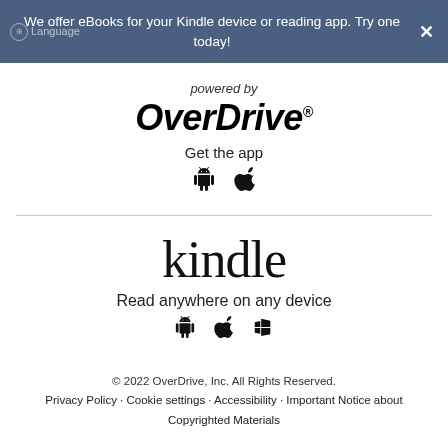We offer eBooks for your Kindle device or reading app. Try one today!
[Figure (logo): OverDrive logo with 'powered by' text above and 'Get the app' below with Android and Apple icons]
[Figure (logo): Kindle logo with 'Read anywhere on any device' text and Android, Apple, Windows icons]
© 2022 OverDrive, Inc. All Rights Reserved. Privacy Policy · Cookie settings · Accessibility · Important Notice about Copyrighted Materials